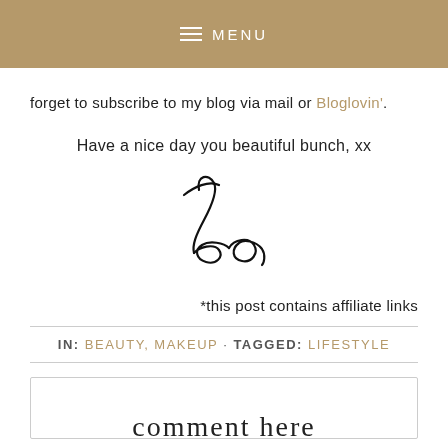MENU
forget to subscribe to my blog via mail or Bloglovin'.
Have a nice day you beautiful bunch, xx
[Figure (illustration): Handwritten cursive signature reading 'Lea']
*this post contains affiliate links
IN: BEAUTY, MAKEUP · TAGGED: LIFESTYLE